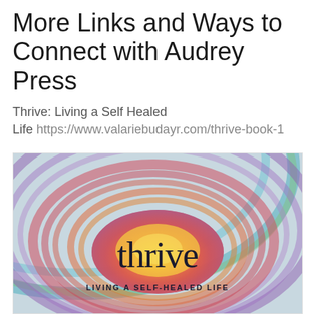More Links and Ways to Connect with Audrey Press
Thrive: Living a Self Healed Life https://www.valariebudayr.com/thrive-book-1
[Figure (illustration): Book cover for 'Thrive: Living a Self-Healed Life' showing colorful concentric swirling circles in rainbow colors (teal, purple, red, orange, yellow) resembling a sun or target pattern, with the word 'thrive' in large serif lowercase letters in the center and 'LIVING A SELF-HEALED LIFE' in small caps below it.]